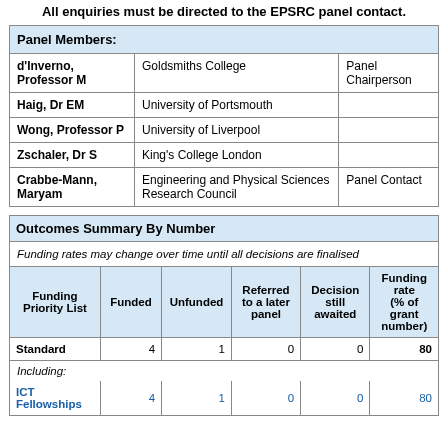All enquiries must be directed to the EPSRC panel contact.
| Panel Members: |  |  |
| --- | --- | --- |
| d'Inverno, Professor M | Goldsmiths College | Panel Chairperson |
| Haig, Dr EM | University of Portsmouth |  |
| Wong, Professor P | University of Liverpool |  |
| Zschaler, Dr S | King's College London |  |
| Crabbe-Mann, Maryam | Engineering and Physical Sciences Research Council | Panel Contact |
| Outcomes Summary By Number |
| --- |
| Funding rates may change over time until all decisions are finalised |
| Funding Priority List | Funded | Unfunded | Referred to a later panel | Decision still awaited | Funding rate (% of grant number) |
| Standard | 4 | 1 | 0 | 0 | 80 |
| Including: |
| ICT Fellowships | 4 | 1 | 0 | 0 | 80 |